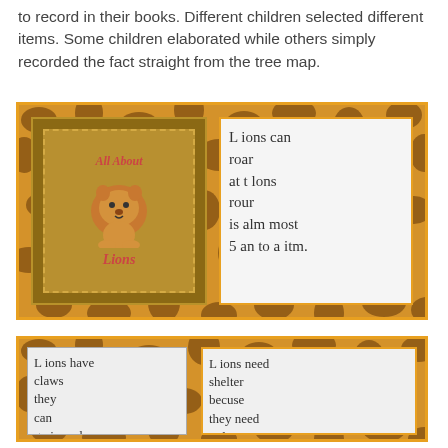to record in their books. Different children selected different items. Some children elaborated while others simply recorded the fact straight from the tree map.
[Figure (photo): Two photos side by side on a giraffe-print background: left shows a 'All About Lions' book cover with a cartoon lion; right shows a child's handwritten page reading 'Lions can roar at lions roar is almost 5 an to a itm.']
[Figure (photo): Two photos side by side on a giraffe-print background: left shows child's handwriting 'Lions have claws they can go in and ot.'; right shows child's handwriting 'Lions need shelter because they need to liv.' with a small drawing of a cave.]